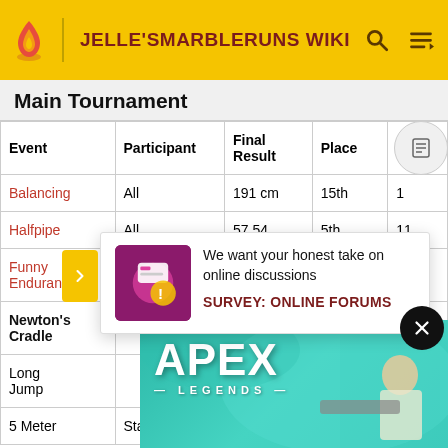JELLE'SMARBLERUNS WIKI
Main Tournament
| Event | Participant | Final Result | Place | Points |
| --- | --- | --- | --- | --- |
| Balancing | All | 191 cm | 15th | 1 |
| Halfpipe | All | 57.54 | 5th | 11 |
| Funny Endurance |  |  |  |  |
| Newton's Cradle | Starry & | 106.55 | 2nd | 20 |
| Long Jump |  |  |  |  |
| 5 Meter | Starry | 8.560 | 5th | 11 |
[Figure (screenshot): Survey popup: 'We want your honest take on online discussions' with SURVEY: ONLINE FORUMS call to action]
[Figure (photo): Apex Legends advertisement banner with teal background and game character]